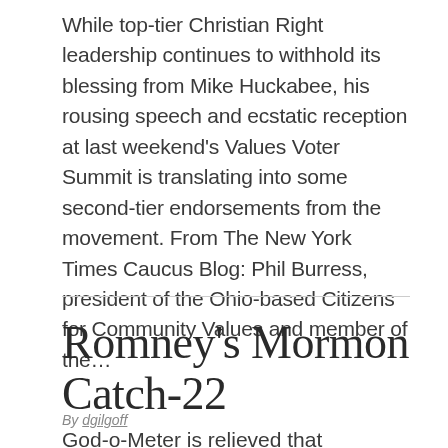While top-tier Christian Right leadership continues to withhold its blessing from Mike Huckabee, his rousing speech and ecstatic reception at last weekend's Values Voter Summit is translating into some second-tier endorsements from the movement. From The New York Times Caucus Blog: Phil Burress, president of the Ohio-based Citizens for Community Values and member of the...
Romney's Mormon Catch-22
By dgilgoff
God-o-Meter is relieved that somebody finally said